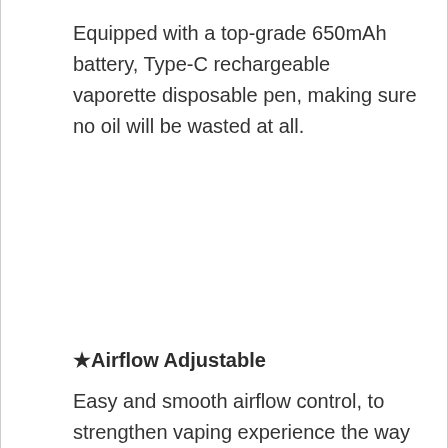Equipped with a top-grade 650mAh battery, Type-C rechargeable vaporette disposable pen, making sure no oil will be wasted at all.
★Airflow Adjustable
Easy and smooth airflow control, to strengthen vaping experience the way you love.